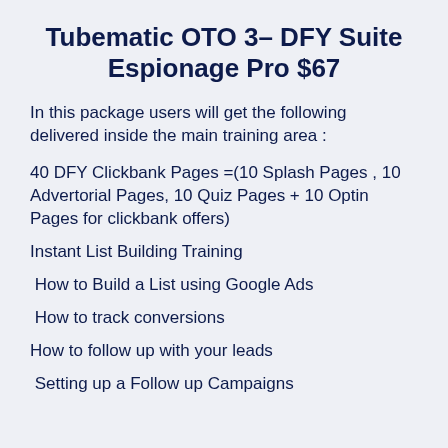Tubematic OTO 3- DFY Suite Espionage Pro $67
In this package users will get the following delivered inside the main training area :
40 DFY Clickbank Pages =(10 Splash Pages , 10 Advertorial Pages, 10 Quiz Pages + 10 Optin Pages for clickbank offers)
Instant List Building Training
How to Build a List using Google Ads
How to track conversions
How to follow up with your leads
Setting up a Follow up Campaigns